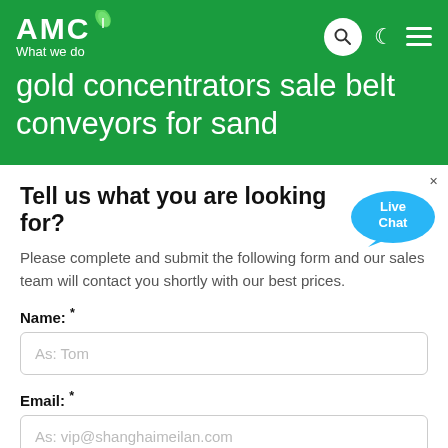AMC - What we do
gold concentrators sale belt conveyors for sand
Tell us what you are looking for?
Please complete and submit the following form and our sales team will contact you shortly with our best prices.
Name: *
As: Tom
Email: *
As: vip@shanghaimeilan.com
Phone: *
With Country Code